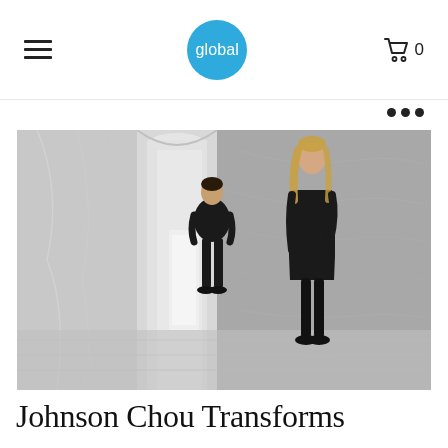global
[Figure (photo): Two people dressed in black standing in a minimalist corridor with concrete/marble walls and recessed lighting. A man stands further back and a woman stands in the foreground near the right wall.]
Johnson Chou Transforms